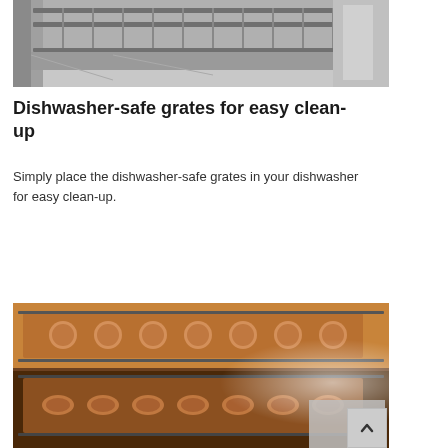[Figure (photo): Black and white photo of the inside of a dishwasher with racks visible]
Dishwasher-safe grates for easy clean-up
Simply place the dishwasher-safe grates in your dishwasher for easy clean-up.
[Figure (photo): Color photo of cookies on baking trays inside an oven with multiple racks]